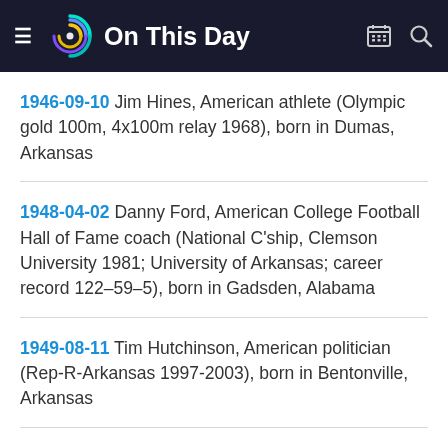On This Day
1946-09-10 Jim Hines, American athlete (Olympic gold 100m, 4x100m relay 1968), born in Dumas, Arkansas
1948-04-02 Danny Ford, American College Football Hall of Fame coach (National C'ship, Clemson University 1981; University of Arkansas; career record 122–59–5), born in Gadsden, Alabama
1949-08-11 Tim Hutchinson, American politician (Rep-R-Arkansas 1997-2003), born in Bentonville, Arkansas
1949-09-26 Martin Delray, American country singer ("Get Rhythm"), born in Texarkana, Arkansas